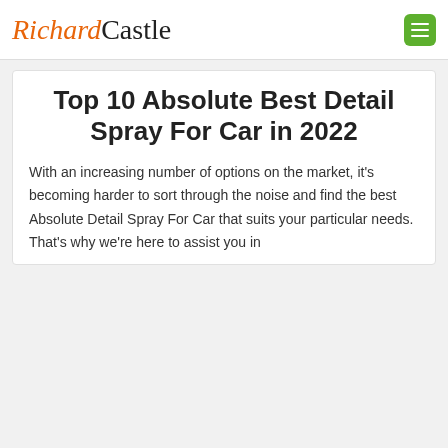RichardCastle
Top 10 Absolute Best Detail Spray For Car in 2022
With an increasing number of options on the market, it's becoming harder to sort through the noise and find the best Absolute Detail Spray For Car that suits your particular needs.
That's why we're here to assist you in